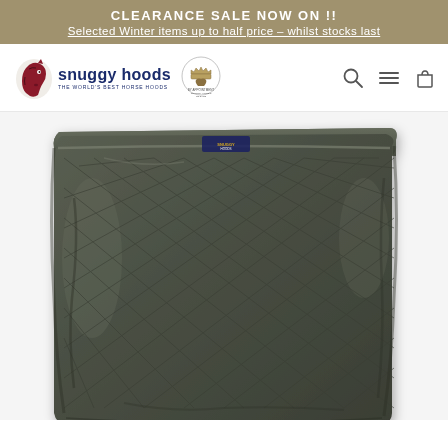CLEARANCE SALE NOW ON !!
Selected Winter items up to half price – whilst stocks last
[Figure (logo): Snuggy Hoods logo with horse icon and royal warrant badge, plus navigation icons (search, menu, cart)]
[Figure (photo): A dark olive/grey quilted horse hood displayed flat, showing diamond quilting pattern and a small brand label near the top centre]